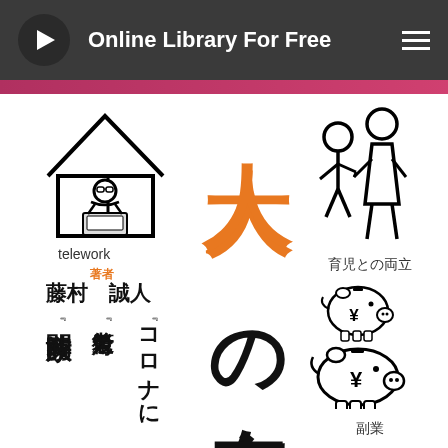Online Library For Free
[Figure (illustration): Book cover with Japanese text. Large orange kanji '大人' and black continuation 'の在宅'. Left side has telework icon (person at laptop under house shape), author name 藤村 誠人, and book title columns. Right side has family icon (adult and child silhouettes), label 育児との両立, piggy bank icons with ¥ symbols, and label 副業.]
telework
著者
藤村　誠人
育児との両立
副業
大人の在宅
『コロナに
『老後対策
『家族時間